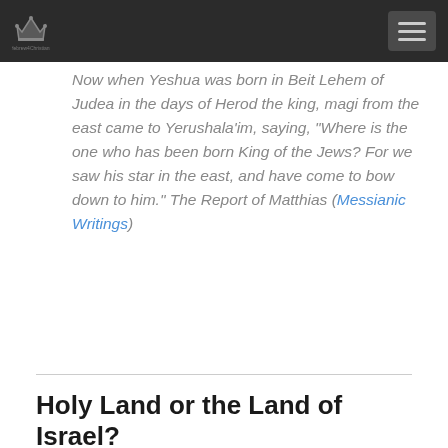Hebrew4Christians navigation header
Now when Yeshua was born in Beit Lehem of Judea in the days of Herod the king, magi from the east came to Yerushala'im, saying, "Where is the one who has been born King of the Jews? For we saw his star in the east, and have come to bow down to him." The Report of Matthias (Messianic Writings)
Holy Land or the Land of Israel?